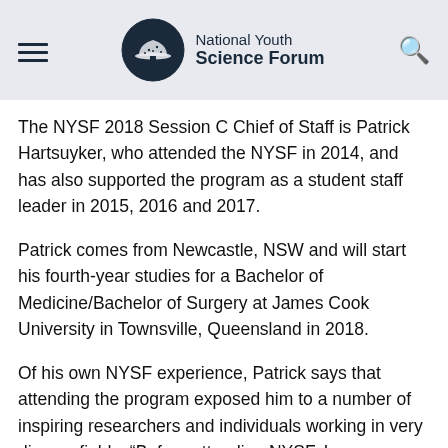National Youth Science Forum
The NYSF 2018 Session C Chief of Staff is Patrick Hartsuyker, who attended the NYSF in 2014, and has also supported the program as a student staff leader in 2015, 2016 and 2017.
Patrick comes from Newcastle, NSW and will start his fourth-year studies for a Bachelor of Medicine/Bachelor of Surgery at James Cook University in Townsville, Queensland in 2018.
Of his own NYSF experience, Patrick says that attending the program exposed him to a number of inspiring researchers and individuals working in very diverse fields. “Before attending NYSF, I was